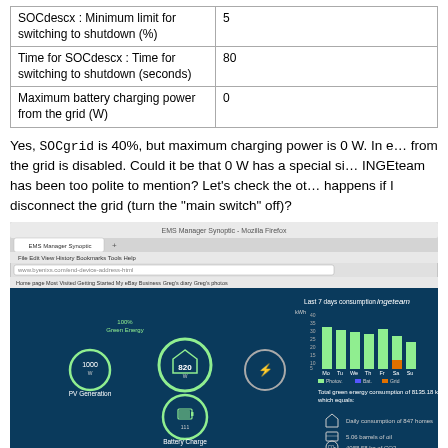| Parameter | Value |
| --- | --- |
| SOCdescx : Minimum limit for switching to shutdown (%) | 5 |
| Time for SOCdescx : Time for switching to shutdown (seconds) | 80 |
| Maximum battery charging power from the grid (W) | 0 |
Yes, SOCgrid is 40%, but maximum charging power is 0 W. In effect charging from the grid is disabled. Could it be that 0 W has a special significance that INGEteam has been too polite to mention? Let's check the other settings. What happens if I disconnect the grid (turn the "main switch" off)?
[Figure (screenshot): Screenshot of EMS Manager Synoptic in Mozilla Firefox browser showing an energy management dashboard with PV Generation circle (1000), Home circle (820 W), Battery Charge circle, 100% Green Energy label, a bar chart of last 7 days consumption (kWh) with Photov., Bat., Grid legend, and total green energy consumption stats showing daily consumption of 847 homes, 5.06 barrels of oil, 4088.58 kg of CO2.]